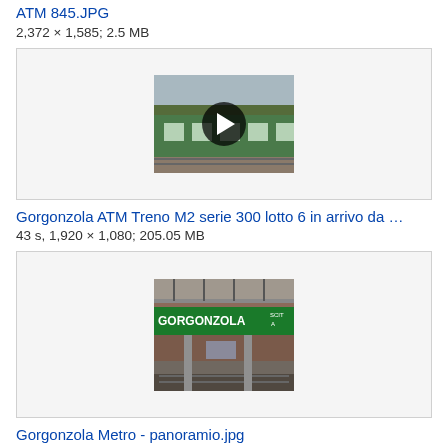ATM 845.JPG
2,372 × 1,585; 2.5 MB
[Figure (screenshot): Video thumbnail of a green ATM train with a play button overlay]
Gorgonzola ATM Treno M2 serie 300 lotto 6 in arrivo da …
43 s, 1,920 × 1,080; 205.05 MB
[Figure (photo): Photo of Gorgonzola metro station platform with a green sign reading GORGONZOLA USCITA]
Gorgonzola Metro - panoramio.jpg